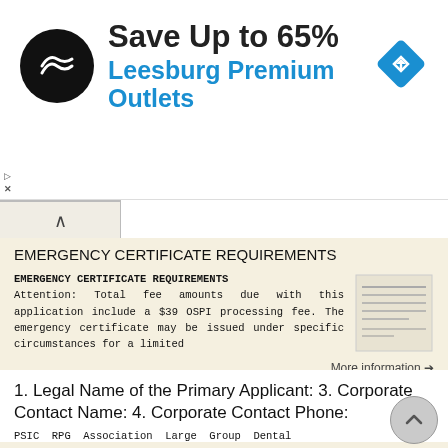[Figure (infographic): Advertisement banner: black circular logo with double arrow symbol on left, text 'Save Up to 65%' in bold dark and 'Leesburg Premium Outlets' in blue, blue diamond navigation icon on right. Skip/close controls at lower left.]
EMERGENCY CERTIFICATE REQUIREMENTS
EMERGENCY CERTIFICATE REQUIREMENTS Attention: Total fee amounts due with this application include a $39 OSPI processing fee. The emergency certificate may be issued under specific circumstances for a limited
More information →
1. Legal Name of the Primary Applicant: 3. Corporate Contact Name: 4. Corporate Contact Phone:
PSIC RPG Association Large Group Dental